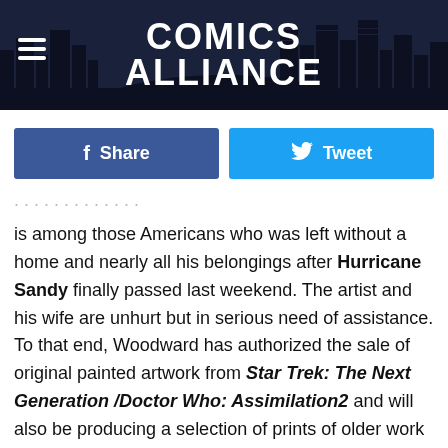[Figure (logo): Comics Alliance website header banner with dark city skyline silhouette and white bold text 'COMICS ALLIANCE', hamburger menu icon on left]
[Figure (infographic): Two social sharing buttons side by side: dark blue Facebook Share button and light blue Twitter Tweet button]
is among those Americans who was left without a home and nearly all his belongings after Hurricane Sandy finally passed last weekend. The artist and his wife are unhurt but in serious need of assistance. To that end, Woodward has authorized the sale of original painted artwork from Star Trek: The Next Generation /Doctor Who: Assimilation2 and will also be producing a selection of prints of older work and superhero commissions that we think you'll find pretty tempting. "My wife and I recently suffered a huge loss from Hurricane Sandy. Our home was lost along with almost everything we own," Woodward wrote on his blog. "I'm currently coming up with some fund raising ideas to get us